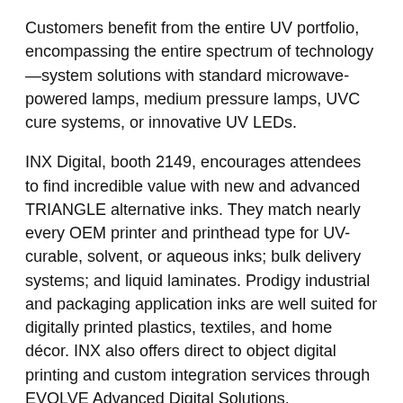Customers benefit from the entire UV portfolio, encompassing the entire spectrum of technology—system solutions with standard microwave-powered lamps, medium pressure lamps, UVC cure systems, or innovative UV LEDs.
INX Digital, booth 2149, encourages attendees to find incredible value with new and advanced TRIANGLE alternative inks. They match nearly every OEM printer and printhead type for UV-curable, solvent, or aqueous inks; bulk delivery systems; and liquid laminates. Prodigy industrial and packaging application inks are well suited for digitally printed plastics, textiles, and home décor. INX also offers direct to object digital printing and custom integration services through EVOLVE Advanced Digital Solutions.
Lawson Screen & Digital Products, booths 2976 and 2977, presents various screenprinting and digital output machines for textile, ASI, and graphic printers. In business since 1949, Lawson manufactures and distributes high-quality imaging